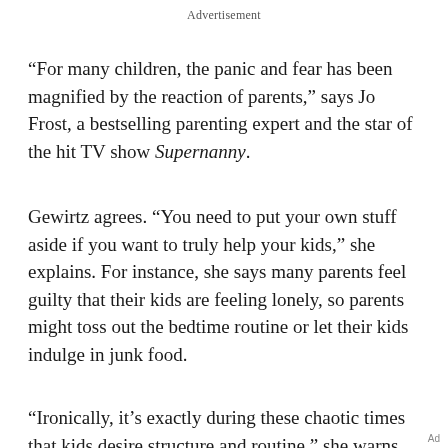Advertisement
“For many children, the panic and fear has been magnified by the reaction of parents,” says Jo Frost, a bestselling parenting expert and the star of the hit TV show Supernanny.
Gewirtz agrees. “You need to put your own stuff aside if you want to truly help your kids,” she explains. For instance, she says many parents feel guilty that their kids are feeling lonely, so parents might toss out the bedtime routine or let their kids indulge in junk food.
“Ironically, it’s exactly during these chaotic times that kids desire structure and routine,” she warns. “So even though our own guilt may make us say…
Ad